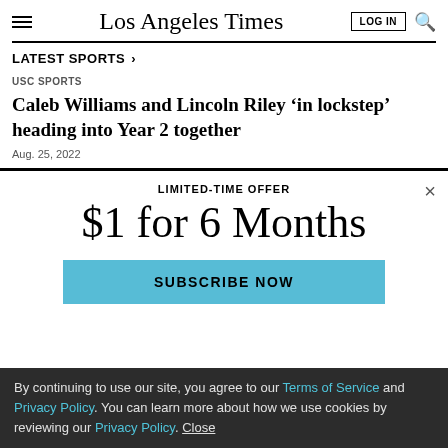Los Angeles Times
LATEST SPORTS
USC SPORTS
Caleb Williams and Lincoln Riley ‘in lockstep’ heading into Year 2 together
Aug. 25, 2022
LIMITED-TIME OFFER
$1 for 6 Months
SUBSCRIBE NOW
By continuing to use our site, you agree to our Terms of Service and Privacy Policy. You can learn more about how we use cookies by reviewing our Privacy Policy. Close